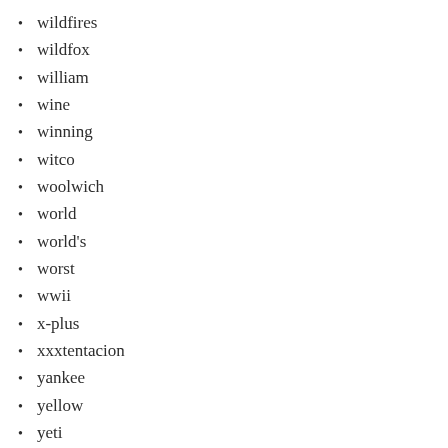wildfires
wildfox
william
wine
winning
witco
woolwich
world
world's
worst
wwii
x-plus
xxxtentacion
yankee
yellow
yeti
yohji